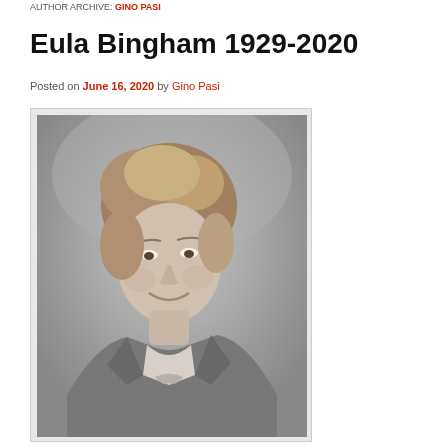AUTHOR ARCHIVE: GINO PASI
Eula Bingham 1929-2020
Posted on June 16, 2020 by Gino Pasi
[Figure (photo): Black and white portrait photograph of Eula Bingham, a woman with short wavy hair, wearing a blazer with a bow tie, smiling gently.]